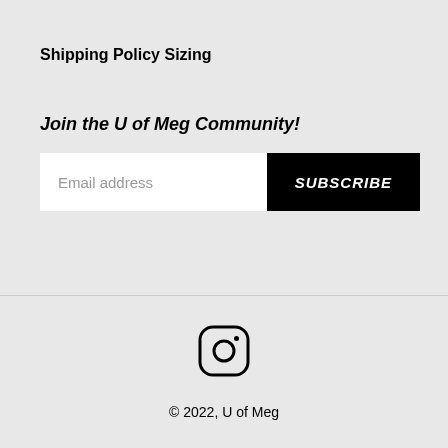Shipping Policy
Sizing
Join the U of Meg Community!
Email address
SUBSCRIBE
[Figure (logo): Instagram logo icon — rounded square outline with circle and dot]
© 2022, U of Meg